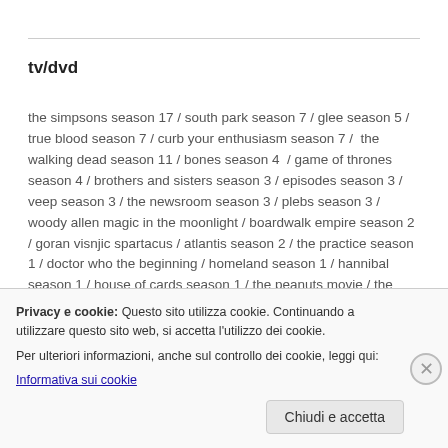tv/dvd
the simpsons season 17 / south park season 7 / glee season 5 / true blood season 7 / curb your enthusiasm season 7 /  the walking dead season 11 / bones season 4  / game of thrones season 4 / brothers and sisters season 3 / episodes season 3 / veep season 3 / the newsroom season 3 / plebs season 3 / woody allen magic in the moonlight / boardwalk empire season 2 / goran visnjic spartacus / atlantis season 2 / the practice season 1 / doctor who the beginning / homeland season 1 / hannibal season 1 / house of cards season 1 / the peanuts movie / the colbvs season 1 / hotel season 1
Privacy e cookie: Questo sito utilizza cookie. Continuando a utilizzare questo sito web, si accetta l'utilizzo dei cookie.
Per ulteriori informazioni, anche sul controllo dei cookie, leggi qui:
Informativa sui cookie
Chiudi e accetta